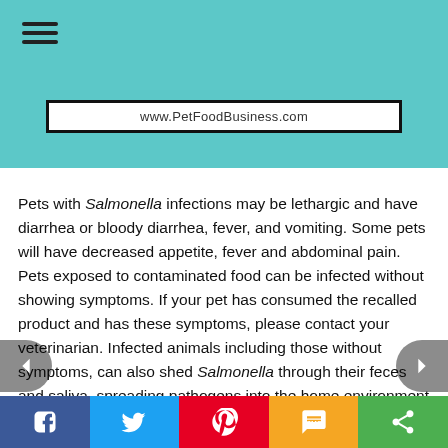www.PetFoodBusiness.com
Pets with Salmonella infections may be lethargic and have diarrhea or bloody diarrhea, fever, and vomiting. Some pets will have decreased appetite, fever and abdominal pain. Pets exposed to contaminated food can be infected without showing symptoms. If your pet has consumed the recalled product and has these symptoms, please contact your veterinarian. Infected animals including those without symptoms, can also shed Salmonella through their feces and saliva, spreading pathogens into the home environment and to humans and other animals in the
f  [twitter]  [pinterest]  SMS  [share]